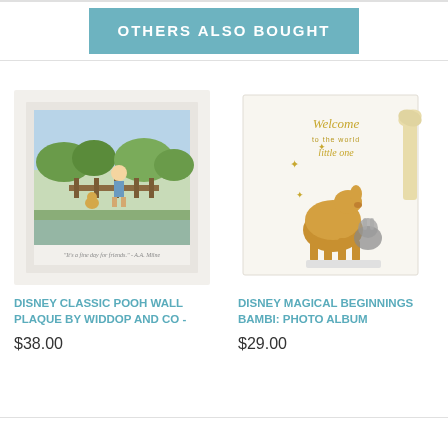OTHERS ALSO BOUGHT
[Figure (photo): Framed Winnie the Pooh classic illustration wall plaque showing Pooh and Piglet on a bridge over water with green landscape background, in white frame]
DISNEY CLASSIC POOH WALL PLAQUE BY WIDDOP AND CO -
$38.00
[Figure (photo): Disney Magical Beginnings Bambi photo album with gold 3D Bambi and Thumper figurine on white cover with yellow ribbon, text reads Welcome to the world little one]
DISNEY MAGICAL BEGINNINGS BAMBI: PHOTO ALBUM
$29.00